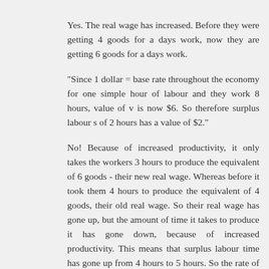Yes. The real wage has increased. Before they were getting 4 goods for a days work, now they are getting 6 goods for a days work.
"Since 1 dollar = base rate throughout the economy for one simple hour of labour and they work 8 hours, value of v is now $6. So therefore surplus labour s of 2 hours has a value of $2."
No! Because of increased productivity, it only takes the workers 3 hours to produce the equivalent of 6 goods - their new real wage. Whereas before it took them 4 hours to produce the equivalent of 4 goods, their old real wage. So their real wage has gone up, but the amount of time it takes to produce it has gone down, because of increased productivity. This means that surplus labour time has gone up from 4 hours to 5 hours. So the rate of exploitation has increased.